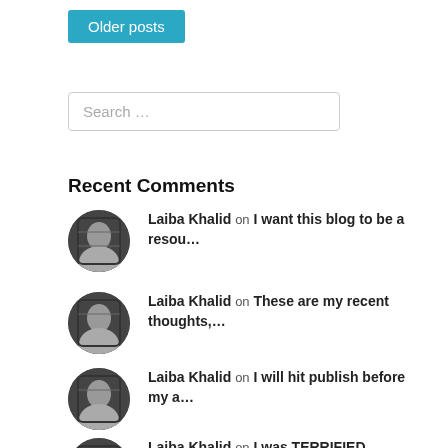Older posts
Search …
Recent Comments
Laiba Khalid on I want this blog to be a resou…
Laiba Khalid on These are my recent thoughts,…
Laiba Khalid on I will hit publish before my a…
Laiba Khalid on I was TERRIFIED because I want…